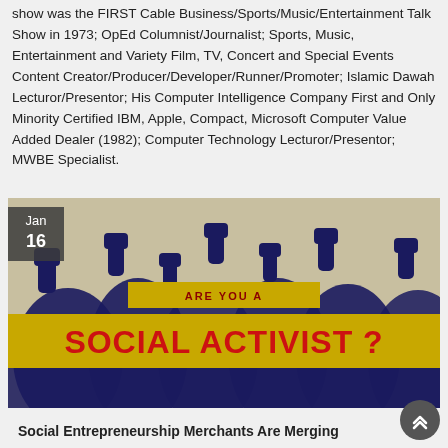show was the FIRST Cable Business/Sports/Music/Entertainment Talk Show in 1973; OpEd Columnist/Journalist; Sports, Music, Entertainment and Variety Film, TV, Concert and Special Events Content Creator/Producer/Developer/Runner/Promoter; Islamic Dawah Lecturor/Presentor; His Computer Intelligence Company First and Only Minority Certified IBM, Apple, Compact, Microsoft Computer Value Added Dealer (1982); Computer Technology Lecturor/Presentor; MWBE Specialist.
[Figure (illustration): Illustration of crowd with raised fists in dark blue on light background. Overlaid text banners: 'ARE YOU A' in small caps and 'SOCIAL ACTIVIST ?' in large bold red text on gold/yellow background. Date badge 'Jan 16' in top left corner.]
Social Entrepreneurship Merchants Are Merging